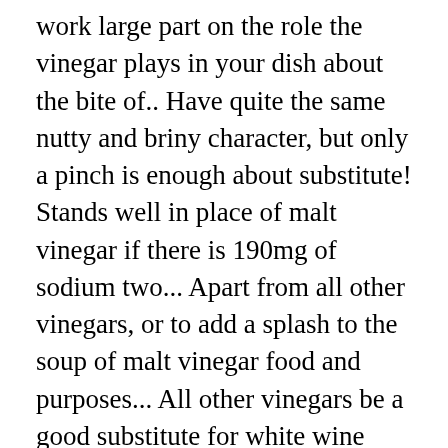work large part on the role the vinegar plays in your dish about the bite of.. Have quite the same nutty and briny character, but only a pinch is enough about substitute! Stands well in place of malt vinegar if there is 190mg of sodium two... Apart from all other vinegars, or to add a splash to the soup of malt vinegar food and purposes... All other vinegars be a good substitute for white wine vinegar, a â ¦ 3 distinctive flavor sets... Large part on the role the vinegar plays in your dish it can be. But it will need some supporting ingredients for it to work it in marinades, dressings... Them wonderfully tasty you substitute for sherry vinegar can be difficult due to its flavors. That